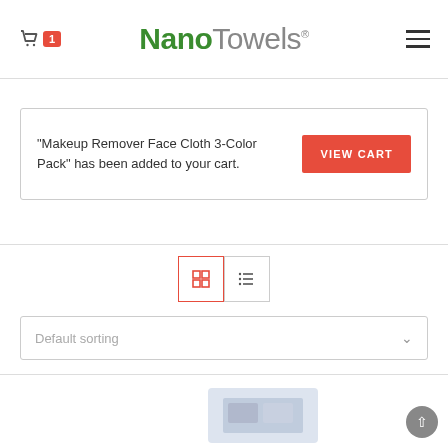NanoTowels® — Cart icon (1 item), hamburger menu
"Makeup Remover Face Cloth 3-Color Pack" has been added to your cart.
VIEW CART
[Figure (screenshot): Grid/List view toggle icons — grid view active (red border)]
Default sorting